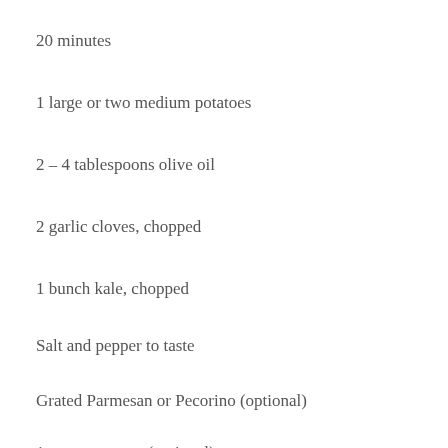20 minutes
1 large or two medium potatoes
2 – 4 tablespoons olive oil
2 garlic cloves, chopped
1 bunch kale, chopped
Salt and pepper to taste
Grated Parmesan or Pecorino (optional)
1 over-easy egg (optional)